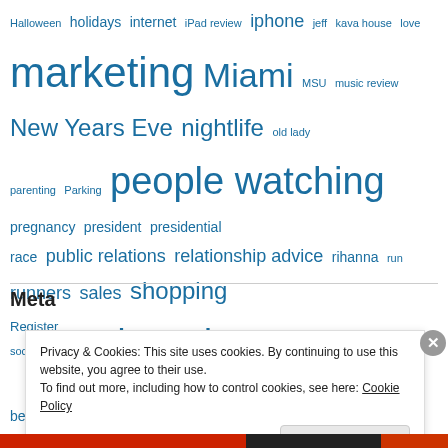Halloween holidays internet iPad review iphone jeff kava house love marketing Miami MSU music review New Years Eve nightlife old lady parenting Parking people watching pregnancy president presidential race public relations relationship advice rihanna run runners sales shopping social media solar solar power south beach sports bra strangers talk that talk taylor swift technology thanksgiving tiger woods trump valentines day vegan work workout writer's block writing
Meta
Register
Privacy & Cookies: This site uses cookies. By continuing to use this website, you agree to their use. To find out more, including how to control cookies, see here: Cookie Policy
Close and accept